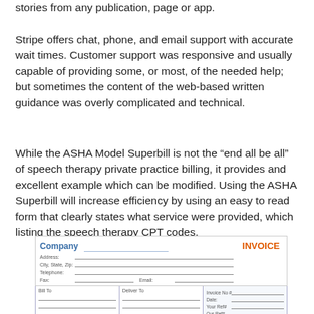stories from any publication, page or app.
Stripe offers chat, phone, and email support with accurate wait times. Customer support was responsive and usually capable of providing some, or most, of the needed help; but sometimes the content of the web-based written guidance was overly complicated and technical.
While the ASHA Model Superbill is not the “end all be all” of speech therapy private practice billing, it provides and excellent example which can be modified. Using the ASHA Superbill will increase efficiency by using an easy to read form that clearly states what service were provided, which listing the speech therapy CPT codes.
[Figure (other): A partial invoice form template showing Company name field, Address, City/State/Zip, Telephone, Fax, Email fields, an INVOICE title in orange, and a table with Bill To, Deliver To, and Invoice No# columns with Date, Your Ref#, Our Ref# fields.]